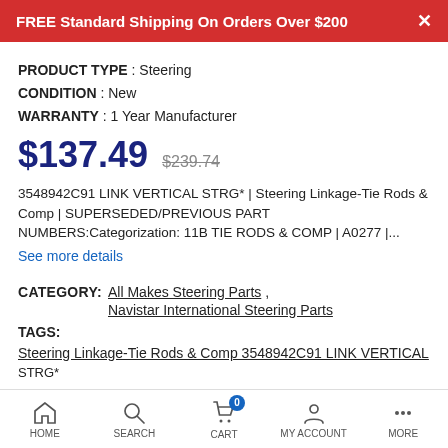FREE Standard Shipping On Orders Over $200
PRODUCT TYPE : Steering
CONDITION : New
WARRANTY : 1 Year Manufacturer
$137.49  $239.74
3548942C91 LINK VERTICAL STRG* | Steering Linkage-Tie Rods & Comp | SUPERSEDED/PREVIOUS PART NUMBERS:Categorization: 11B TIE RODS & COMP | A0277 |...
See more details
CATEGORY: All Makes Steering Parts , Navistar International Steering Parts
TAGS:
Steering Linkage-Tie Rods & Comp 3548942C91 LINK VERTICAL STRG*
HOME  SEARCH  CART  MY ACCOUNT  MORE